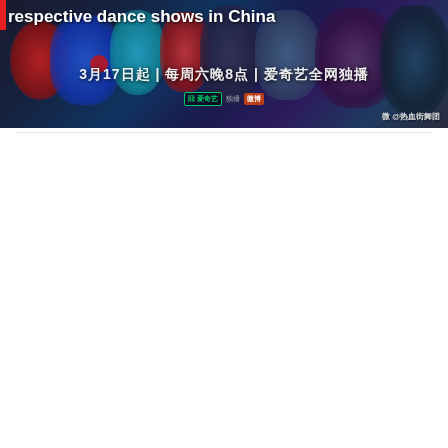[Figure (photo): A promotional photo for a Chinese dance show featuring multiple performers in colorful outfits against a dark background. Chinese text overlay reads: 3月17日起 | 每周六晚8点 | 爱奇艺全网独播. Weibo handle: @热血街舞团]
respective dance shows in China